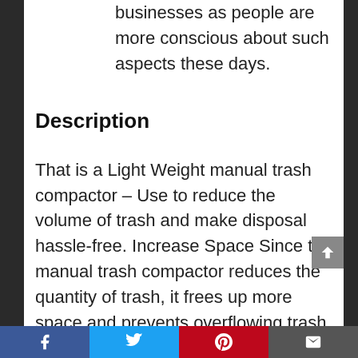businesses as people are more conscious about such aspects these days.
Description
That is a Light Weight manual trash compactor – Use to reduce the volume of trash and make disposal hassle-free. Increase Space Since the manual trash compactor reduces the quantity of trash, it frees up more space and prevents overflowing trash cans. You can dispose more
Facebook Twitter Pinterest Email